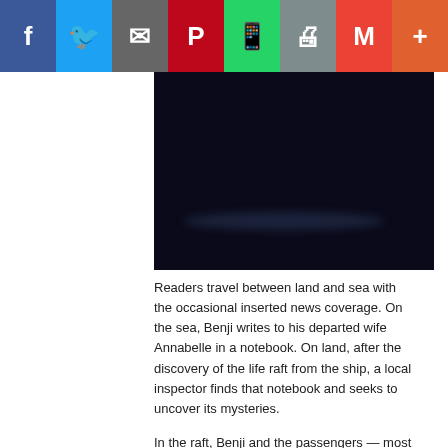[Figure (other): Social media share bar with icons for Facebook, Twitter, Email, Pinterest, WhatsApp, Print, Gmail, and More]
[Figure (photo): Dark, nearly black image with a faint blue-gray glowing shape near the bottom, appearing to be a dramatic atmospheric or nautical scene]
Readers travel between land and sea with the occasional inserted news coverage. On the sea, Benji writes to his departed wife Annabelle in a notebook. On land, after the discovery of the life raft from the ship, a local inspector finds that notebook and seeks to uncover its mysteries.
In the raft, Benji and the passengers — most of whom are not religious from the start, or who have fallen away from faith — are distrustful of the man who calls himself the Lord. Yet the only way they can be saved is if they believe.
READ: Our faith is made for difficult times
Despite that, the